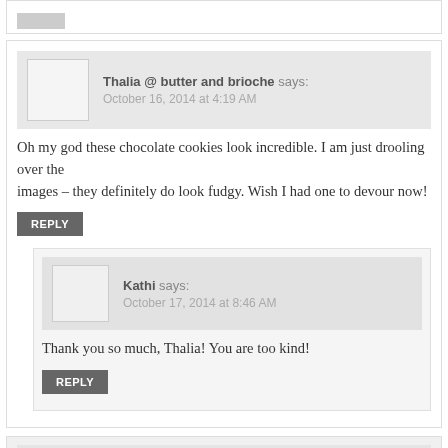Thalia @ butter and brioche says: October 16, 2014 at 4:19 AM
Oh my god these chocolate cookies look incredible. I am just drooling over the images – they definitely do look fudgy. Wish I had one to devour now!
REPLY
Kathi says: October 17, 2014 at 8:46 AM
Thank you so much, Thalia! You are too kind!
REPLY
Kathy + Life Made Sweeter says: October 16, 2014 at 4:33 AM